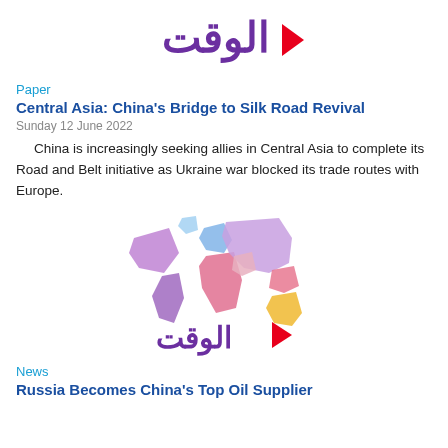[Figure (logo): Al-Waqt Arabic news logo - purple Arabic text with red play button triangle]
Paper
Central Asia: China's Bridge to Silk Road Revival
Sunday 12 June 2022
China is increasingly seeking allies in Central Asia to complete its Road and Belt initiative as Ukraine war blocked its trade routes with Europe.
[Figure (logo): Al-Waqt logo with colorful world map above and purple Arabic text with red play button triangle below]
News
Russia Becomes China's Top Oil Supplier